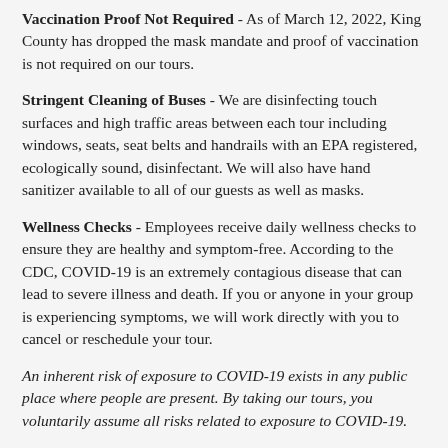Vaccination Proof Not Required - As of March 12, 2022, King County has dropped the mask mandate and proof of vaccination is not required on our tours.
Stringent Cleaning of Buses - We are disinfecting touch surfaces and high traffic areas between each tour including windows, seats, seat belts and handrails with an EPA registered, ecologically sound, disinfectant. We will also have hand sanitizer available to all of our guests as well as masks.
Wellness Checks - Employees receive daily wellness checks to ensure they are healthy and symptom-free. According to the CDC, COVID-19 is an extremely contagious disease that can lead to severe illness and death. If you or anyone in your group is experiencing symptoms, we will work directly with you to cancel or reschedule your tour.
An inherent risk of exposure to COVID-19 exists in any public place where people are present. By taking our tours, you voluntarily assume all risks related to exposure to COVID-19.
Meet Your Guide